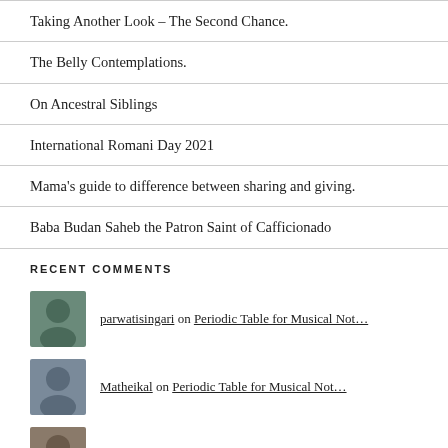Taking Another Look – The Second Chance.
The Belly Contemplations.
On Ancestral Siblings
International Romani Day 2021
Mama's guide to difference between sharing and giving.
Baba Budan Saheb the Patron Saint of Cafficionado
RECENT COMMENTS
parwatisingari on Periodic Table for Musical Not…
Matheikal on Periodic Table for Musical Not…
parwatisingari on Social Justice.